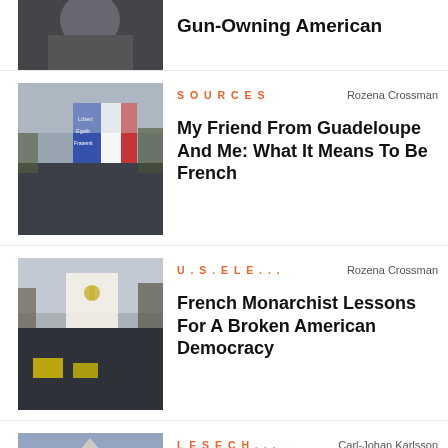[Figure (photo): Partial cropped photo at top, person with gun]
Gun-Owning American
[Figure (photo): Crowd waving French tricolor flag with Liberté, Egalité, Fraternité banner]
SOURCES
Rozena Crossman
My Friend From Guadeloupe And Me: What It Means To Be French
[Figure (photo): Crowd with French royalist flag outdoors]
U.S. ELE...
Rozena Crossman
French Monarchist Lessons For A Broken American Democracy
[Figure (photo): Louvre pyramid Paris]
LES ECH...
Carl-Johan Karlsson
Buenos Aires To Paris, Don't...